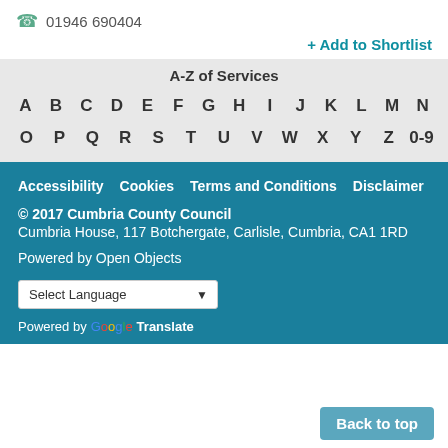01946 690404
+ Add to Shortlist
A-Z of Services
A B C D E F G H I J K L M N
O P Q R S T U V W X Y Z 0-9
Accessibility  Cookies  Terms and Conditions  Disclaimer
© 2017 Cumbria County Council
Cumbria House, 117 Botchergate, Carlisle, Cumbria, CA1 1RD
Powered by Open Objects
Select Language
Powered by Google Translate
Back to top